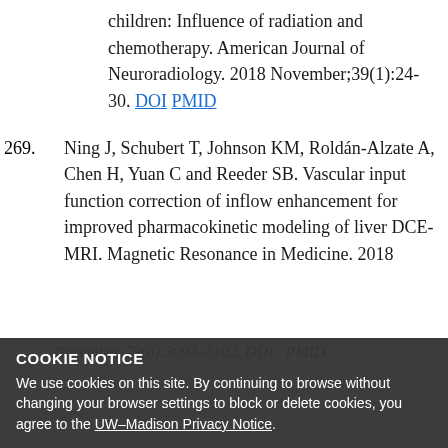children: Influence of radiation and chemotherapy. American Journal of Neuroradiology. 2018 November;39(1):24-30. DOI PMID
269. Ning J, Schubert T, Johnson KM, Roldán-Alzate A, Chen H, Yuan C and Reeder SB. Vascular input function correction of inflow enhancement for improved pharmacokinetic modeling of liver DCE-MRI. Magnetic Resonance in Medicine. 2018
November;79(6):3093-3102. DOI PMID
COOKIE NOTICE
We use cookies on this site. By continuing to browse without changing your browser settings to block or delete cookies, you agree to the UW–Madison Privacy Notice.